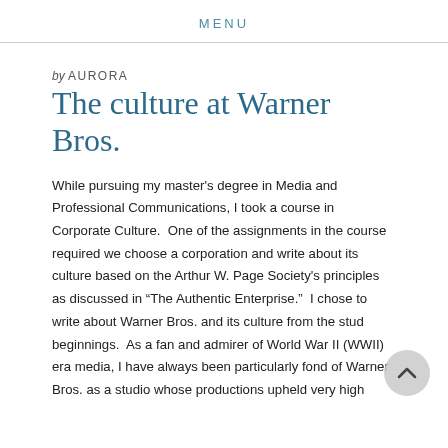MENU
by AURORA
The culture at Warner Bros.
While pursuing my master's degree in Media and Professional Communications, I took a course in Corporate Culture.  One of the assignments in the course required we choose a corporation and write about its culture based on the Arthur W. Page Society's principles as discussed in “The Authentic Enterprise.”  I chose to write about Warner Bros. and its culture from the stud beginnings.  As a fan and admirer of World War II (WWII) era media, I have always been particularly fond of Warner Bros. as a studio whose productions upheld very high